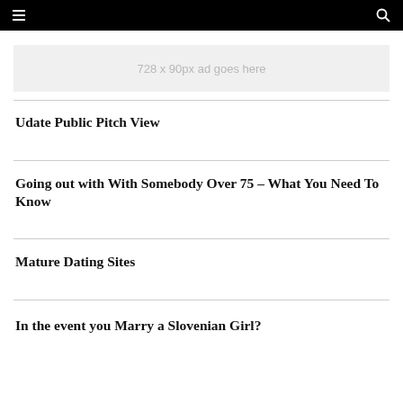[Figure (screenshot): Ad banner placeholder: 728 x 90px ad goes here]
Udate Public Pitch View
Going out with With Somebody Over 75 – What You Need To Know
Mature Dating Sites
In the event you Marry a Slovenian Girl?